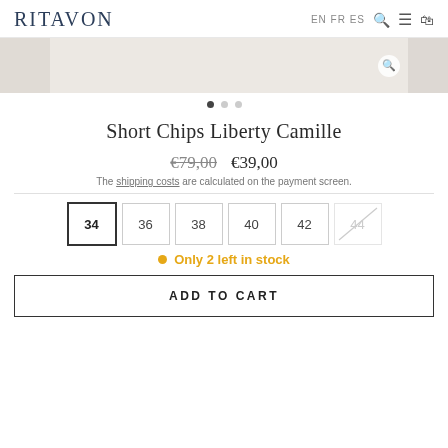RITAVON  EN FR ES
[Figure (photo): Product image strip showing fabric/clothing detail in neutral tones with a search icon overlay]
Short Chips Liberty Camille
€79,00  €39,00
The shipping costs are calculated on the payment screen.
Size options: 34 (selected), 36, 38, 40, 42, 44 (unavailable)
Only 2 left in stock
ADD TO CART